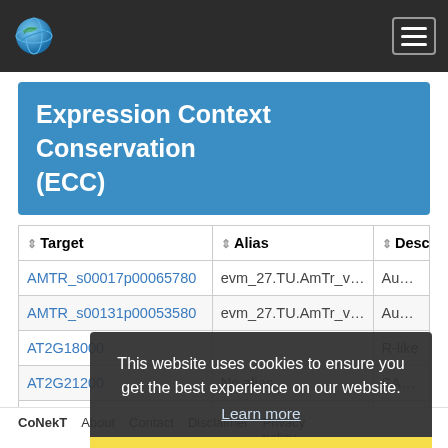CoNekT navigation bar with logo and hamburger menu
Expression Context Conservation (ECC)
| Target | Alias | Descrip |
| --- | --- | --- |
| AMTR_s00017p00065780 | evm_27.TU.AmTr_v1... | Auxin-resp |
| AMTR_s00131p00053580 | evm_27.TU.AmTr_v1... | Auxin-indu |
| AT2G18000 |  | R-like |
| AT2G21200 | No alias | SAUR-like |
| AT2G21220 | No alias | SAUR-like |
| AT2G24400 | No alias | SAUR-like |
This website uses cookies to ensure you get the best experience on our website. Learn more
Got it!
CoNekT   About   Contact   Disclaimer   Privacy policy